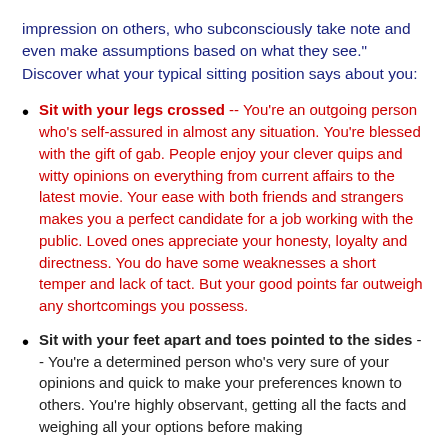impression on others, who subconsciously take note and even make assumptions based on what they see." Discover what your typical sitting position says about you:
Sit with your legs crossed -- You're an outgoing person who's self-assured in almost any situation. You're blessed with the gift of gab. People enjoy your clever quips and witty opinions on everything from current affairs to the latest movie. Your ease with both friends and strangers makes you a perfect candidate for a job working with the public. Loved ones appreciate your honesty, loyalty and directness. You do have some weaknesses a short temper and lack of tact. But your good points far outweigh any shortcomings you possess.
Sit with your feet apart and toes pointed to the sides -- You're a determined person who's very sure of your opinions and quick to make your preferences known to others. You're highly observant, getting all the facts and weighing all your options before making